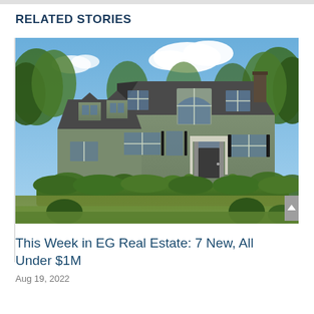RELATED STORIES
[Figure (photo): Exterior photo of a large two-story colonial-style house with green/gray siding, white trim, multiple dormers, arched window, black shutters, white front door, surrounded by lush green trees, manicured hedges, and lawn on a sunny day with blue sky and white clouds.]
This Week in EG Real Estate: 7 New, All Under $1M
Aug 19, 2022